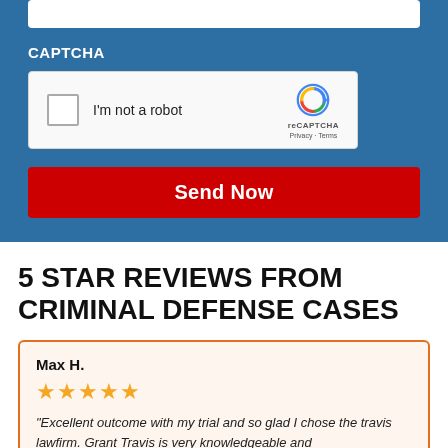[Figure (screenshot): Top portion of a web form on a blue background showing an input bar and CAPTCHA widget with reCAPTCHA logo]
CAPTCHA
[Figure (screenshot): reCAPTCHA widget with checkbox labeled 'I'm not a robot' and reCAPTCHA logo with Privacy and Terms links]
Send Now
5 STAR REVIEWS FROM CRIMINAL DEFENSE CASES
Max H.
★★★★★
"Excellent outcome with my trial and so glad I chose the travis lawfirm. Grant Travis is very knowledgeable and